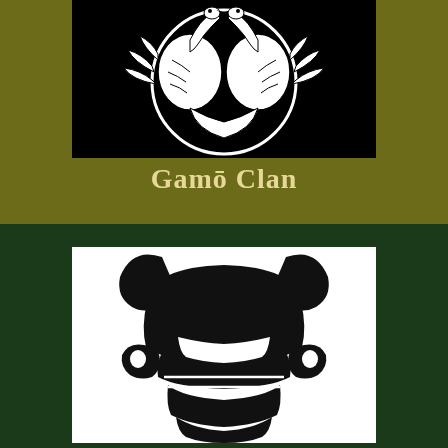[Figure (illustration): Japanese clan mon (family crest) of the Gamo Clan: two white cranes facing each other, arranged in a circular pattern on a black background.]
Gamō Clan
[Figure (illustration): Stylized black silhouette of a samurai helmet (kabuto) on a white background, showing the distinctive horns and face guard design associated with the Gamo Clan.]